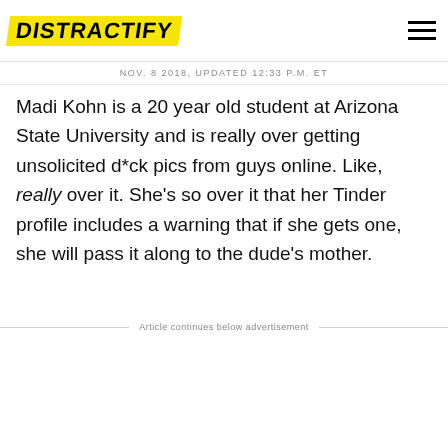DISTRACTIFY
NOV. 8 2018, UPDATED 12:33 P.M. ET
Madi Kohn is a 20 year old student at Arizona State University and is really over getting unsolicited d*ck pics from guys online. Like, really over it. She's so over it that her Tinder profile includes a warning that if she gets one, she will pass it along to the dude's mother.
Article continues below advertisement